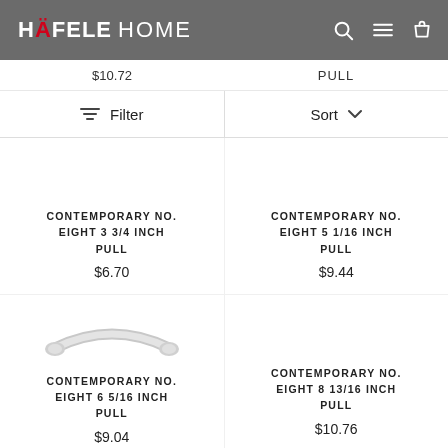HÄFELE HOME
$10.72
PULL
Filter
Sort
CONTEMPORARY NO. EIGHT 3 3/4 INCH PULL
$6.70
CONTEMPORARY NO. EIGHT 5 1/16 INCH PULL
$9.44
[Figure (illustration): A curved cabinet pull handle shown in light gray, viewed from above]
CONTEMPORARY NO. EIGHT 6 5/16 INCH PULL
$9.04
CONTEMPORARY NO. EIGHT 8 13/16 INCH PULL
$10.76